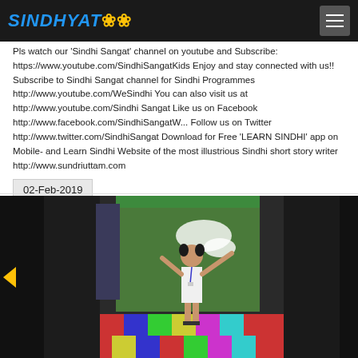SINDHYAT🌸
Pls watch our 'Sindhi Sangat' channel on youtube and Subscribe: https://www.youtube.com/SindhiSangatKids Enjoy and stay connected with us!! Subscribe to Sindhi Sangat channel for Sindhi Programmes http://www.youtube.com/WeSindhi You can also visit us at http://www.youtube.com/Sindhi Sangat Like us on Facebook http://www.facebook.com/SindhiSangatW... Follow us on Twitter http://www.twitter.com/SindhiSangat Download for Free 'LEARN SINDHI' app on Mobile- and Learn Sindhi Website of the most illustrious Sindhi short story writer http://www.sundriuttam.com
02-Feb-2019
[Figure (photo): A young girl in a white dress standing with arms raised in what appears to be a classroom or indoor space with colorful decorations and drawings in the background.]